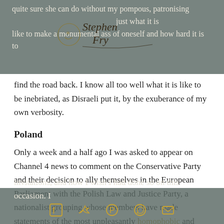quite sure she can do without my pompous, patronising sympathy. I feel [signature] just what it is like to make a monumental ass of oneself and how hard it is to find the road back. I know all too well what it is like to be inebriated, as Disraeli put it, by the exuberance of my own verbosity.
[Figure (illustration): Stephen Fry signature/logo overlay on header text]
Poland
Only a week and a half ago I was asked to appear on Channel 4 news to comment on the Conservative Party and their decision to ally themselves in the European Parliament with the Polish Law and Justice Party, a nationalist grouping whose members have made statements of the most unpleasantly homophobic and antisemitic nature. I usually decline such invitations, and how I wish I had done so on this occasion. I think I accepted for the achingly dumb reason that I happened to be in the Holborn area all that day and the ITN